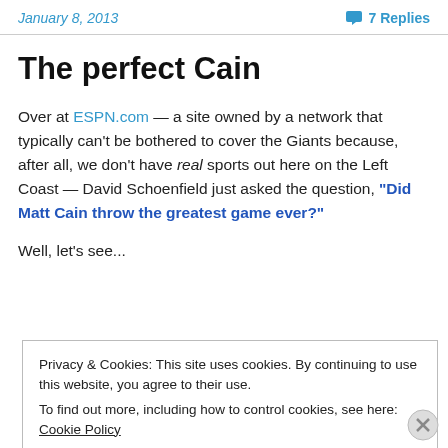January 8, 2013   7 Replies
The perfect Cain
Over at ESPN.com — a site owned by a network that typically can't be bothered to cover the Giants because, after all, we don't have real sports out here on the Left Coast — David Schoenfield just asked the question, "Did Matt Cain throw the greatest game ever?"
Well, let's see...
Privacy & Cookies: This site uses cookies. By continuing to use this website, you agree to their use.
To find out more, including how to control cookies, see here: Cookie Policy